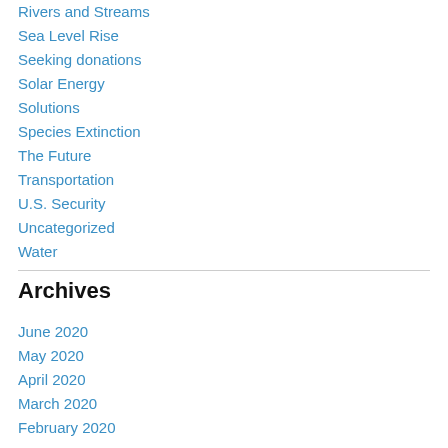Rivers and Streams
Sea Level Rise
Seeking donations
Solar Energy
Solutions
Species Extinction
The Future
Transportation
U.S. Security
Uncategorized
Water
Archives
June 2020
May 2020
April 2020
March 2020
February 2020